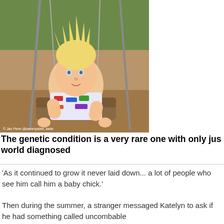[Figure (photo): Baby with spiky blonde hair sitting in a playground swing, wearing a colorful shirt with vehicles print. Photo credit: Jan Penn @sammyable_babe]
The genetic condition is a very rare one with only jus world diagnosed
'As it continued to grow it never laid down... a lot of people who see him call him a baby chick.'
Then during the summer, a stranger messaged Katelyn to ask if he had something called uncombable